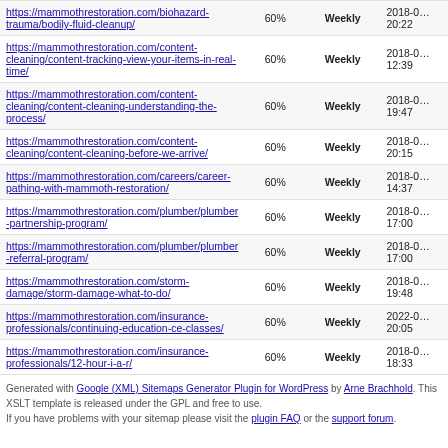| URL | Priority | Change Frequency | Last Change |
| --- | --- | --- | --- |
| https://mammothrestoration.com/biohazard-trauma/bodily-fluid-cleanup/ | 60% | Weekly | 2018-0… 20:22 |
| https://mammothrestoration.com/content-cleaning/content-tracking-view-your-items-in-real-time/ | 60% | Weekly | 2018-0… 12:39 |
| https://mammothrestoration.com/content-cleaning/content-cleaning-understanding-the-process/ | 60% | Weekly | 2018-0… 19:47 |
| https://mammothrestoration.com/content-cleaning/content-cleaning-before-we-arrive/ | 60% | Weekly | 2018-0… 20:15 |
| https://mammothrestoration.com/careers/career-pathing-with-mammoth-restoration/ | 60% | Weekly | 2018-0… 14:37 |
| https://mammothrestoration.com/plumber/plumber-partnership-program/ | 60% | Weekly | 2018-0… 17:00 |
| https://mammothrestoration.com/plumber/plumber-referral-program/ | 60% | Weekly | 2018-0… 17:00 |
| https://mammothrestoration.com/storm-damage/storm-damage-what-to-do/ | 60% | Weekly | 2018-0… 19:48 |
| https://mammothrestoration.com/insurance-professionals/continuing-education-ce-classes/ | 60% | Weekly | 2022-0… 20:05 |
| https://mammothrestoration.com/insurance-professionals/12-hour-i-a-r/ | 60% | Weekly | 2018-0… 18:33 |
Generated with Google (XML) Sitemaps Generator Plugin for WordPress by Arne Brachhold. This XSLT template is released under the GPL and free to use. If you have problems with your sitemap please visit the plugin FAQ or the support forum.